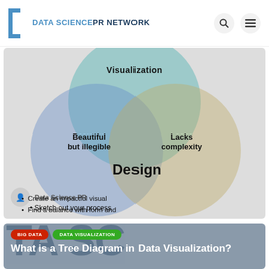DATA SCIENCE PR NETWORK
[Figure (infographic): Venn diagram with three overlapping circles labeled Visualization (top), showing intersections: Beautiful but illegible (left), Lacks complexity (right), Design (center bottom). Below the diagram is an attribution row with avatar and Data Science PR text. List items: Sketch out your process, Create an impactful visual, Find a balance with form and function.]
Sketch out your process
Create an impactful visual
Find a balance with form and
[Figure (screenshot): Article card with dark navy large background text, red BIG DATA tag, green DATA VISUALIZATION tag, and white article title: What is a Tree Diagram in Data Visualization?]
What is a Tree Diagram in Data Visualization?